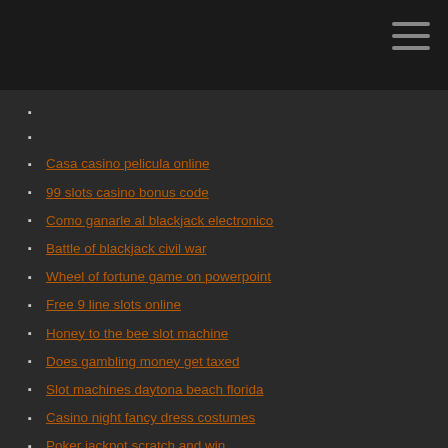Casa casino pelicula online
99 slots casino bonus code
Como ganarle al blackjack electronico
Battle of blackjack civil war
Wheel of fortune game on powerpoint
Free 9 line slots online
Honey to the bee slot machine
Does gambling money get taxed
Slot machines daytona beach florida
Casino night fancy dress costumes
Poker jackpot scratch and win
Billet ok corral geant casino